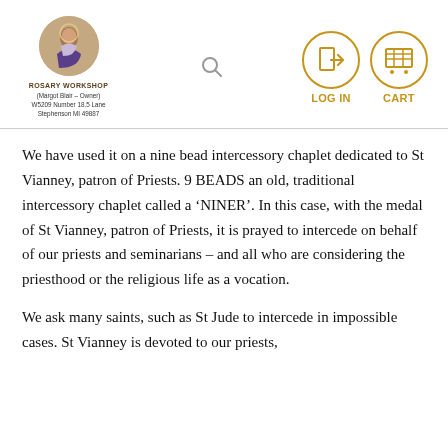[Figure (logo): Rosary Workshop logo — circular photo of a religious figure (Virgin Mary), with shop name and address below]
ROSARY WORKSHOP
(Margot Blair – Owner)
W5209 Number 18.5 Lane
Stephenson MI 49887
[Figure (illustration): Search magnifying glass icon]
[Figure (illustration): Log In icon — door with arrow inside a gold circle]
[Figure (illustration): Cart icon — shopping cart inside a gold circle]
We have used it on a nine bead intercessory chaplet dedicated to St Vianney, patron of Priests. 9 BEADS an old, traditional intercessory chaplet called a ‘NINER’. In this case, with the medal of St Vianney, patron of Priests, it is prayed to intercede on behalf of our priests and seminarians – and all who are considering the priesthood or the religious life as a vocation.
We ask many saints, such as St Jude to intercede in impossible cases. St Vianney is devoted to our priests,